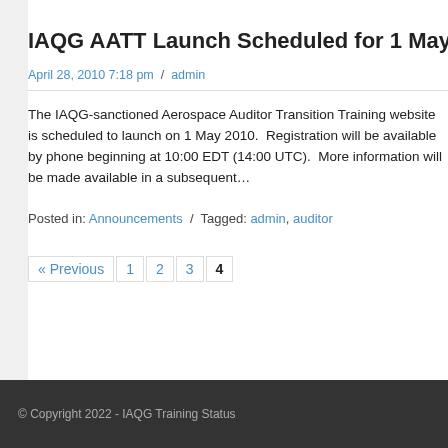IAQG AATT Launch Scheduled for 1 May 201...
April 28, 2010 7:18 pm  /  admin
The IAQG-sanctioned Aerospace Auditor Transition Training website is scheduled to launch on 1 May 2010.  Registration will be available by phone beginning at 10:00 EDT (14:00 UTC).  More information will be made available in a subsequent...
Posted in: Announcements  /  Tagged: admin, auditor
« Previous  1  2  3  4
© Copyright 2022 - IAQG Training Status